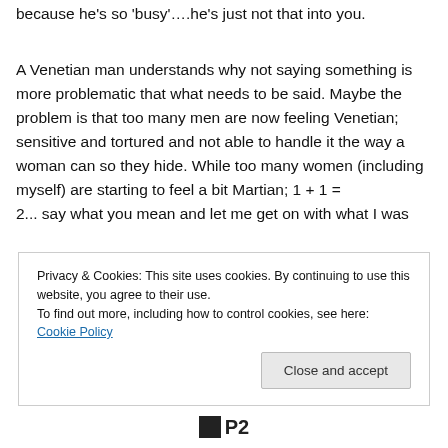because he's so 'busy'….he's just not that into you.
A Venetian man understands why not saying something is more problematic that what needs to be said. Maybe the problem is that too many men are now feeling Venetian; sensitive and tortured and not able to handle it the way a woman can so they hide. While too many women (including myself) are starting to feel a bit Martian; 1 + 1 = 2... say what you mean and let me get on with what I was
Privacy & Cookies: This site uses cookies. By continuing to use this website, you agree to their use.
To find out more, including how to control cookies, see here: Cookie Policy
Close and accept